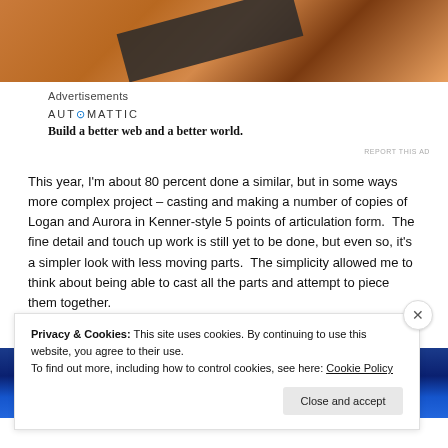[Figure (photo): Close-up photo of what appears to be hands working with craft materials, warm orange/brown tones with a dark tool or blade visible]
Advertisements
[Figure (logo): Automattic logo with tagline: Build a better web and a better world.]
This year, I'm about 80 percent done a similar, but in some ways more complex project – casting and making a number of copies of Logan and Aurora in Kenner-style 5 points of articulation form.  The fine detail and touch up work is still yet to be done, but even so, it's a simpler look with less moving parts.  The simplicity allowed me to think about being able to cast all the parts and attempt to piece them together.
[Figure (photo): Dark blue image with bokeh/glowing dots, appears to be a night sky or digital background]
Privacy & Cookies: This site uses cookies. By continuing to use this website, you agree to their use.
To find out more, including how to control cookies, see here: Cookie Policy